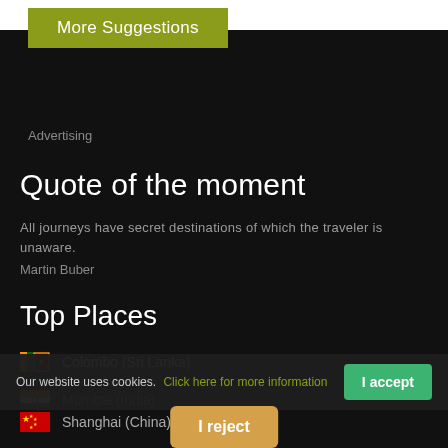More Suggestions
Advertising
Quote of the moment
All journeys have secret destinations of which the traveler is unaware.
Martin Buber
Top Places
Colombo (Sri Lanka)
Mumbai (India)
Shanghai (China)
Our website uses cookies. Click here for more information
I accept
I reject